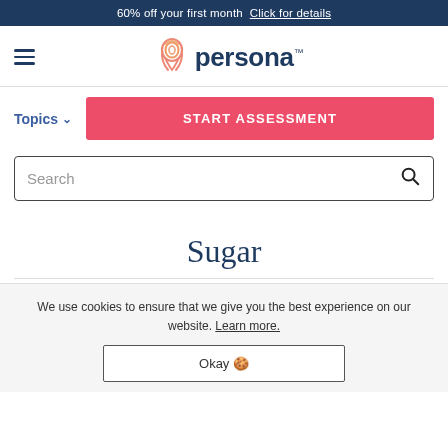60% off your first month  Click for details
[Figure (logo): Persona logo with fingerprint icon and the word 'persona' in dark blue]
Topics ∨
START ASSESSMENT
Search
Sugar
We use cookies to ensure that we give you the best experience on our website. Learn more.
Okay 🍪